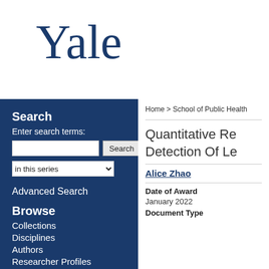[Figure (logo): Yale University wordmark logo in dark navy blue serif font]
Search
Enter search terms:
in this series
Advanced Search
Browse
Collections
Disciplines
Authors
Researcher Profiles
Contribute
Home > School of Public Health
Quantitative Re... Detection Of Le...
Alice Zhao
Date of Award
January 2022